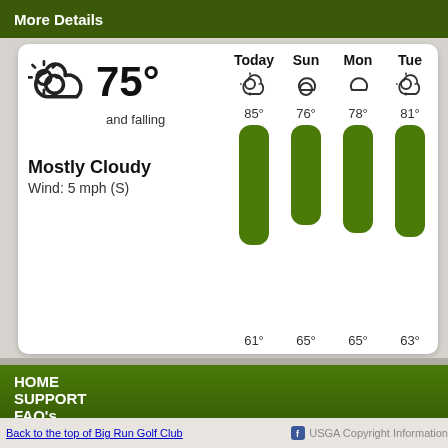More Details
[Figure (infographic): Weather widget showing mostly cloudy, 75° and falling, Wind: 5 mph (S). Forecast for Today (85°/61°), Sun (76°/65°), Mon (78°/65°), Tue (81°/63°), Wed (84°/61°), Thu (85°/62°) with green thermometer bars and weather icons.]
HOME
SUPPORT
FAQ's
Back to the top of Big Run Golf Club | USGA Copyright Information